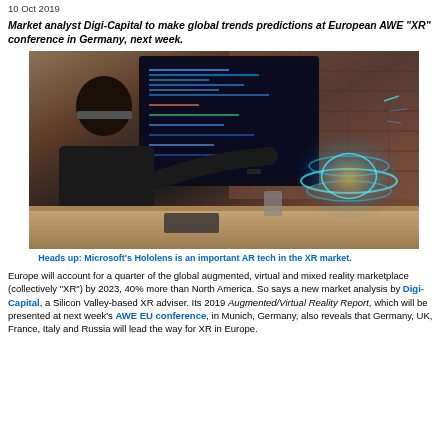10 Oct 2019
Market analyst Digi-Capital to make global trends predictions at European AWE "XR" conference in Germany, next week.
[Figure (photo): Person wearing Microsoft HoloLens AR headset sitting at a desk with a monitor showing code, interacting with a glowing holographic AR object floating above the desk surface, with a brick wall in the background.]
Heads up: Microsoft's Hololens is an important AR tech in the XR market.
Europe will account for a quarter of the global augmented, virtual and mixed reality marketplace (collectively "XR") by 2023, 40% more than North America. So says a new market analysis by Digi-Capital, a Silicon Valley-based XR adviser. Its 2019 Augmented/Virtual Reality Report, which will be presented at next week's AWE EU conference, in Munich, Germany, also reveals that Germany, UK, France, Italy and Russia will lead the way for XR in Europe.